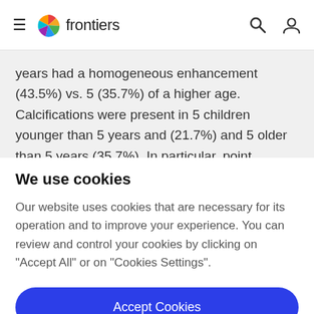frontiers
years had a homogeneous enhancement (43.5%) vs. 5 (35.7%) of a higher age. Calcifications were present in 5 children younger than 5 years and (21.7%) and 5 older than 5 years (35.7%). In particular, point calcifications were found in 2 cases of children younger than 5 years
We use cookies
Our website uses cookies that are necessary for its operation and to improve your experience. You can review and control your cookies by clicking on "Accept All" or on "Cookies Settings".
Accept Cookies
Cookies Settings